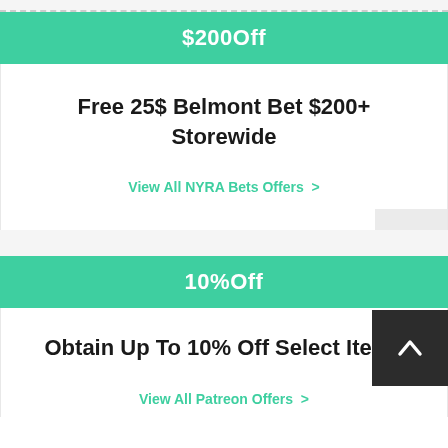$200Off
Free 25$ Belmont Bet $200+ Storewide
View All NYRA Bets Offers >
Expires 23-10-22
10%Off
Obtain Up To 10% Off Select Items
View All Patreon Offers >